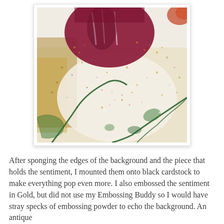[Figure (photo): Close-up macro photograph of an embossed/stamped craft project showing a dark crimson/magenta flower or tulip shape at the top, surrounded by speckled gold and green embossing powder on a white background, with green leaf outlines visible.]
After sponging the edges of the background and the piece that holds the sentiment, I mounted them onto black cardstock to make everything pop even more. I also embossed the sentiment in Gold, but did not use my Embossing Buddy so I would have stray specks of embossing powder to echo the background. An antique